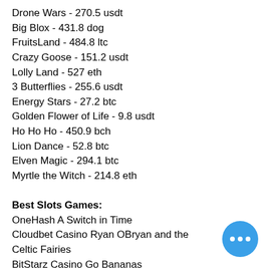Drone Wars - 270.5 usdt
Big Blox - 431.8 dog
FruitsLand - 484.8 ltc
Crazy Goose - 151.2 usdt
Lolly Land - 527 eth
3 Butterflies - 255.6 usdt
Energy Stars - 27.2 btc
Golden Flower of Life - 9.8 usdt
Ho Ho Ho - 450.9 bch
Lion Dance - 52.8 btc
Elven Magic - 294.1 btc
Myrtle the Witch - 214.8 eth
Best Slots Games:
OneHash A Switch in Time
Cloudbet Casino Ryan OBryan and the Celtic Fairies
BitStarz Casino Go Bananas
Diamond Reels Casino La Dolce Vita Nights